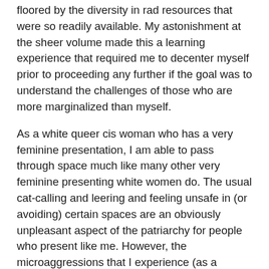floored by the diversity in rad resources that were so readily available. My astonishment at the sheer volume made this a learning experience that required me to decenter myself prior to proceeding any further if the goal was to understand the challenges of those who are more marginalized than myself.
As a white queer cis woman who has a very feminine presentation, I am able to pass through space much like many other very feminine presenting white women do. The usual cat-calling and leering and feeling unsafe in (or avoiding) certain spaces are an obviously unpleasant aspect of the patriarchy for people who present like me. However, the microaggressions that I experience (as a person with much privilege) are insignificant in comparison to the challenges that many other people face.